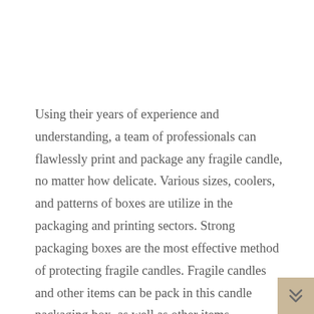Using their years of experience and understanding, a team of professionals can flawlessly print and package any fragile candle, no matter how delicate. Various sizes, coolers, and patterns of boxes are utilize in the packaging and printing sectors. Strong packaging boxes are the most effective method of protecting fragile candles. Fragile candles and other items can be pack in this candle packaging box, as well as other items.